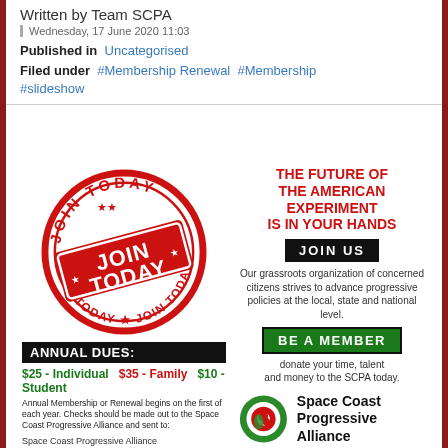Written by Team SCPA
Wednesday, 17 June 2020 11:03
Published in  Uncategorised
Filed under  #Membership Renewal  #Membership  #slideshow
[Figure (infographic): Join Today stamp graphic (red circular stamp) and membership advertisement for Space Coast Progressive Alliance. Includes annual dues ($25 Individual, $35 Family, $10 Student), address info, and right column with 'The Future of the American Experiment is in Your Hands', Join Us button, Be a Member button, and SCPA logo.]